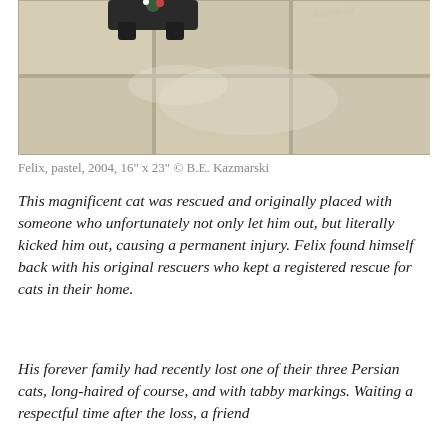[Figure (photo): Partial view of a cat on a tiled floor, showing the lower portion of a cat with dark markings standing on large cream/beige square tiles with visible grout lines. A signature or watermark is visible in the upper right corner of the image.]
Felix, pastel, 2004, 16" x 23" © B.E. Kazmarski
This magnificent cat was rescued and originally placed with someone who unfortunately not only let him out, but literally kicked him out, causing a permanent injury. Felix found himself back with his original rescuers who kept a registered rescue for cats in their home.
His forever family had recently lost one of their three Persian cats, long-haired of course, and with tabby markings. Waiting a respectful time after the loss, a friend